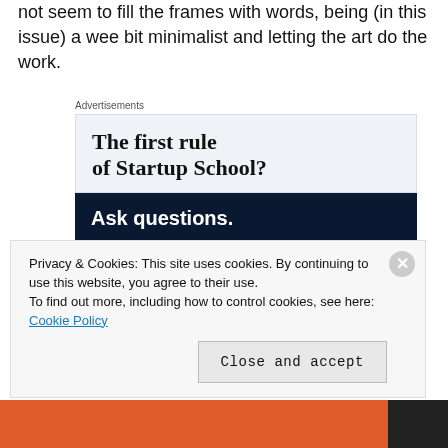not seem to fill the frames with words, being (in this issue) a wee bit minimalist and letting the art do the work.
[Figure (screenshot): Advertisement section with label 'Advertisements', upper white/light-blue panel with bold serif text 'The first rule of Startup School?', and lower dark navy panel with bold white sans-serif text 'Ask questions.' and a pink 'Start a survey' button and WordPress/survey logos.]
Privacy & Cookies: This site uses cookies. By continuing to use this website, you agree to their use. To find out more, including how to control cookies, see here: Cookie Policy
Close and accept